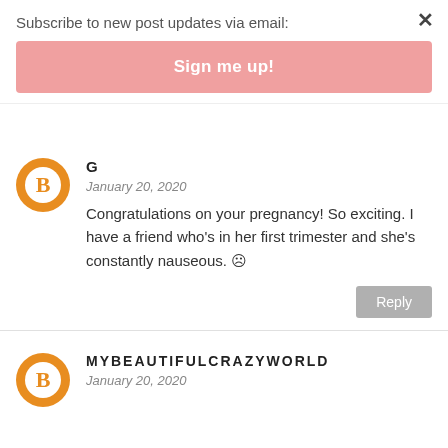Subscribe to new post updates via email:
Sign me up!
×
G
January 20, 2020
Congratulations on your pregnancy! So exciting. I have a friend who's in her first trimester and she's constantly nauseous. ☹
Reply
MYBEAUTIFULCRAZYWORLD
January 20, 2020